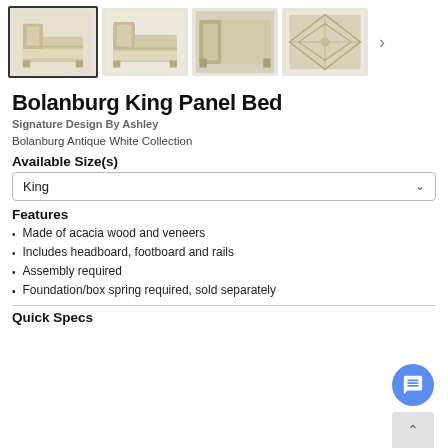[Figure (photo): Four product thumbnail images of the Bolanburg King Panel Bed from different angles: front view (selected), front view 2, room setting view, and headboard detail view. A right arrow navigation button is visible.]
Bolanburg King Panel Bed
Signature Design By Ashley
Bolanburg Antique White Collection
Available Size(s)
King
Features
Made of acacia wood and veneers
Includes headboard, footboard and rails
Assembly required
Foundation/box spring required, sold separately
Quick Specs